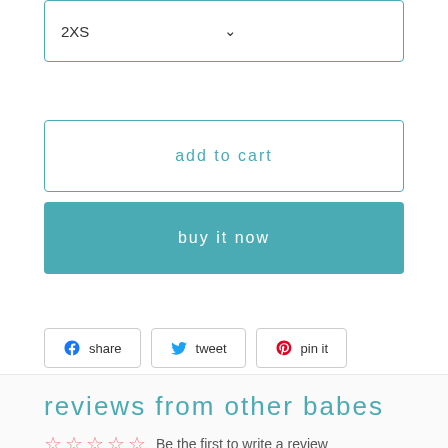[Figure (screenshot): Dropdown selector showing '2XS' with a chevron arrow on the right]
add to cart
buy it now
[Figure (infographic): Social share buttons: Facebook share, Twitter tweet, Pinterest pin it]
reviews from other babes
Be the first to write a review
★ bryght reviews